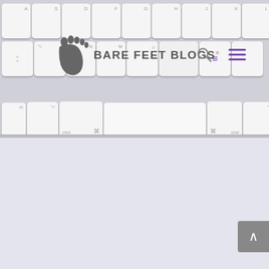[Figure (screenshot): Bare Feet Blogs website header showing keyboard background image with Mac keyboard keys, logo with footprint icon and 'BARE FEET BLOGS' text, search icon, hamburger menu icon in purple, and a scroll-to-top button in grey at bottom right. Lower portion of page is lavender/light purple background.]